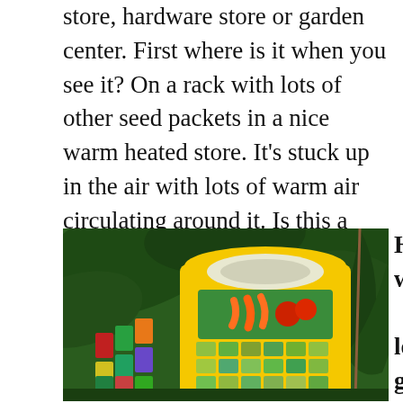store, hardware store or garden center. First where is it when you see it? On a rack with lots of other seed packets in a nice warm heated store. It's stuck up in the air with lots of warm air circulating around it. Is this a good environment for seeds? NO.
[Figure (photo): A yellow seed packet display rack filled with colorful seed packets, surrounded by green tropical plants/palms in the background.]
How long has it been on